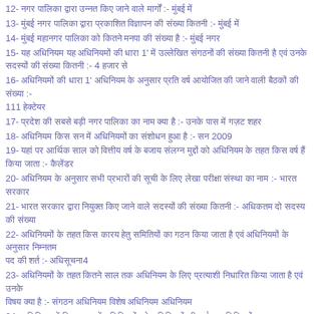12- [Hindi text] :- [Hindi text]
13- [Hindi text] :- [Hindi text]
14- [Hindi text] :- [Hindi text]
15- [Hindi text] 1' [Hindi text] :- 4 [Hindi text]
16- [Hindi text] 1' [Hindi text] :- 111 [Hindi text]
17- [Hindi text] :- [Hindi text]
18- [Hindi text] :- [Hindi text]
19- [Hindi text] :-[Hindi text]
20- [Hindi text] :- [Hindi text]
21- [Hindi text] :- [Hindi text]
22- [Hindi text] :- [Hindi text]4
23- [Hindi text] :- [Hindi text]
24- [Hindi text] :-[Hindi text]
25- [Hindi text] :- [Hindi text]
26- [Hindi text] :- [Hindi text]